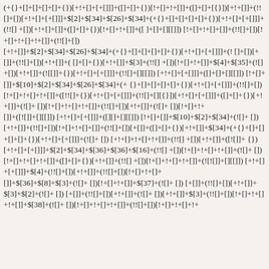(+{}+[]+[]+[]+[]+{})[+!+[]+[+[]]]+([]+[]+{})[!+[]+!+[]]+([]+[]+[{}])[+!+[]]+(!![]+[])[+!+[]+[+[]]]+$[2]+$[34]+$[26]+$[34]+(+{}+[]+[]+[]+[]+{})[+!+[]+[+[]]]+(![]+[])[+[]]+(!![]+[])[+!+[]]+([]+[]+[{}])[!+[]+!+[]+[{}]]+(!![]+[])[!+[]+!+[]+!+[]]+(!![]+[])[+!+[]]+$[2]+$[34]+$[26]+$[34]+(+{}+[]+[]+[]+[]+{})[+!+[]+[+[]]]+(![]+[])[+[]]+(!![]+[])[+!+[]]+([]+[]+[{}])[!+[]+!+[]+[{}]]+(!![]+[])[!+[]+!+[]+!+[]]+(!![]+[])[+!+[]]+$[2]+$[34]+$[26]+$[34]+(+{}+[]+[]+[]+[]+{})[+!+[]+[+[]]]+(!![]+[])[+[]]+(!![]+[])[+!+[]+[+[]]]+$[10]+$[2]+$[34]+$[26]+$[34]+(+{}+[]+[]+[]+[]+{})[+!+[]+[+[]]]+(![]+[])[!+[]+!+[]+!+[]]+([!![]+{})[+!+[]+[+[]]]+(!![]+[][{}])[+!+[]+[+[]]]+([][]+{})[!+[]+!+[]+[{}]]+$[10]+$[2]+$[34]+(![]+ [])[+!+[]]+(!![]+[])[!+[]+!+[]+!+[]]+(!![]+[])[+[]]+([]+[]+{})[+!+[]]+$[34]+(+{}+[]+[]+[]+[]+{})[+!+[]+[+[]]]+(![]+ [])[+!+[]+!+[]+!+[]]+(!![]+[])[+!+[]]+(![][]+ {})[+!+[]+[+[]]]+$[2]+$[34]+$[36]+$[36]+$[16]+(!![]+[])[!+[]+!+[]+!+[]]+(![]+ [])[!+[]+!+[]+!+[]]+([]+[]+{})[+!+[]]+(!![]+[])[!+[]+!+[]+!+[]]+([!![]+[][{}])[+!+[]+[+[]]]+$[4]+(!![]+[])[+!+[]]+(!![]+[])[!+[]+!+[]+$[36]+$[8]+$[3]+(![]+ [])[!+[]+!+[]]+$[37]+(![]+ [])[+[]]+(!![]+[])[+!+[]]+$[3]+$[2]+(![]+ [])[+[]]+(!![]+[])[+!+[]]+(![]+ [])[+!+[]]+$[3]+(!![]+[])[!+[]+!+[]+!+[]]+$[38]+(![]+ [])[!+[]+!+[]+!+[]]+(!![]+[])[!+[]+!+[]+!+